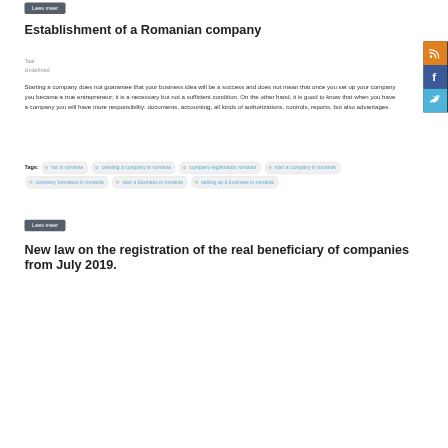Lees meer
Establishment of a Romanian company
Taal
Undefined
Starting a company does not guarantee that your business idea will be a success and does not mean that once you set up your company you became a true entrepreneur; it is a necessary but not a sufficient condition. On the other hand, it is good to know that when you have a company you will have more responsibility: documents, accounting, all kinds of authorizations, controls, reports, but also advantages.
Tags: tax in romania   creating a company in romania   company registration romania   start a company in romania   company formation in romania   start a business in romania   setting up a business in romania
Lees meer
New law on the registration of the real beneficiary of companies from July 2019.